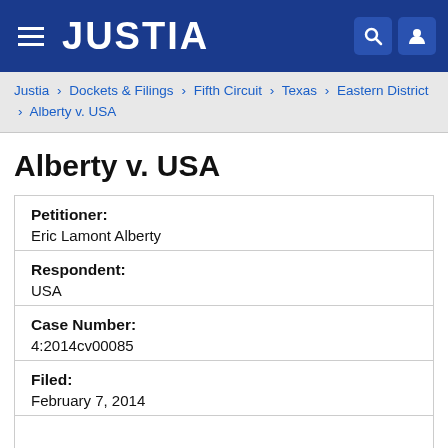JUSTIA
Justia › Dockets & Filings › Fifth Circuit › Texas › Eastern District › Alberty v. USA
Alberty v. USA
| Petitioner: | Eric Lamont Alberty |
| Respondent: | USA |
| Case Number: | 4:2014cv00085 |
| Filed: | February 7, 2014 |